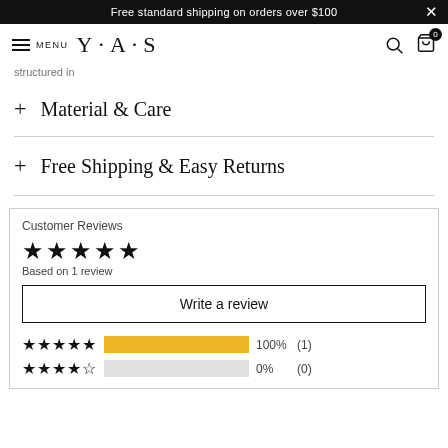Free standard shipping on orders over $100
MENU  Y·A·S
structured in
+ Material & Care
+ Free Shipping & Easy Returns
Customer Reviews
★★★★★ Based on 1 review
Write a review
★★★★★ 100% (1)
★★★★☆ 0% (0)